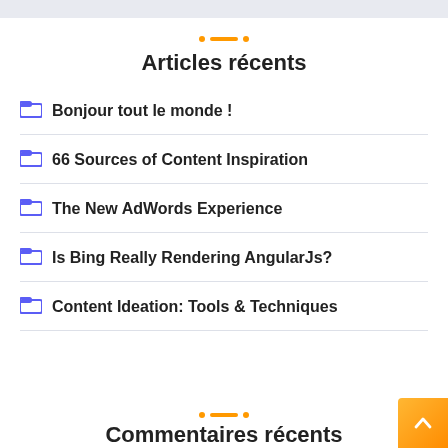Articles récents
Bonjour tout le monde !
66 Sources of Content Inspiration
The New AdWords Experience
Is Bing Really Rendering AngularJs?
Content Ideation: Tools & Techniques
Commentaires récents